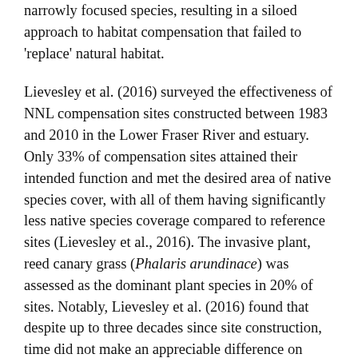narrowly focused species, resulting in a siloed approach to habitat compensation that failed to 'replace' natural habitat.
Lievesley et al. (2016) surveyed the effectiveness of NNL compensation sites constructed between 1983 and 2010 in the Lower Fraser River and estuary. Only 33% of compensation sites attained their intended function and met the desired area of native species cover, with all of them having significantly less native species coverage compared to reference sites (Lievesley et al., 2016). The invasive plant, reed canary grass (Phalaris arundinace) was assessed as the dominant plant species in 20% of sites. Notably, Lievesley et al. (2016) found that despite up to three decades since site construction, time did not make an appreciable difference on increasing the proportion of native species. Hartman and Miles (1997) found the success rate of measures to create or improve spawning and rearing habitat in a